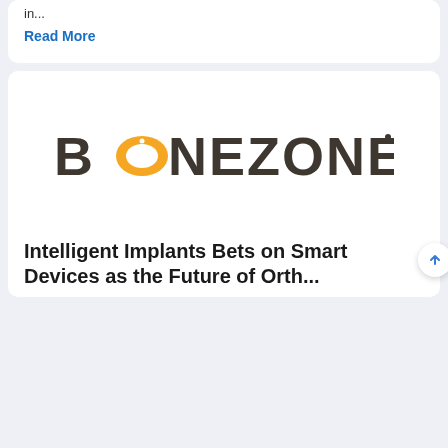in...
Read More
[Figure (logo): BONEZONE logo with orange O and dark gray text]
Intelligent Implants Bets on Smart Devices as the Future of Orthopaedics